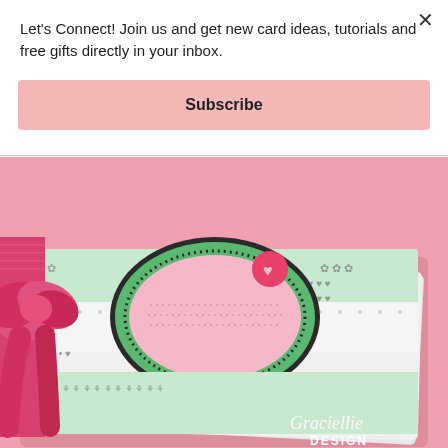Let's Connect! Join us and get new card ideas, tutorials and free gifts directly in your inbox.
Subscribe
[Figure (photo): A stack of handmade greeting cards decorated with mint green and pink patterned paper, featuring an oval frame design with a pink embellishment. The stack is tied with a pink grosgrain ribbon bow on the left side. The Graciellie Design logo is visible in the bottom right corner. Background is pink.]